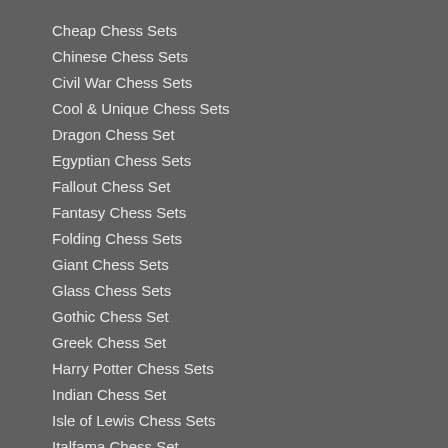Cheap Chess Sets
Chinese Chess Sets
Civil War Chess Sets
Cool & Unique Chess Sets
Dragon Chess Set
Egyptian Chess Sets
Fallout Chess Set
Fantasy Chess Sets
Folding Chess Sets
Giant Chess Sets
Glass Chess Sets
Gothic Chess Set
Greek Chess Set
Harry Potter Chess Sets
Indian Chess Set
Isle of Lewis Chess Sets
Italfama Chess Set